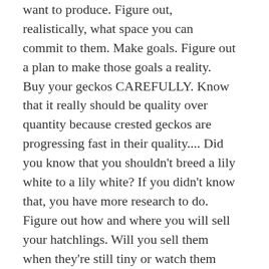want to produce. Figure out, realistically, what space you can commit to them. Make goals. Figure out a plan to make those goals a reality. Buy your geckos CAREFULLY. Know that it really should be quality over quantity because crested geckos are progressing fast in their quality.... Did you know that you shouldn't breed a lily white to a lily white? If you didn't know that, you have more research to do. Figure out how and where you will sell your hatchlings. Will you sell them when they're still tiny or watch them grow a while first. Can you afford to house and feed all the babies/geckos you have for a long period of time before selling them? How will you ship? Start building a following by showing off your geckos. Do social platforms...